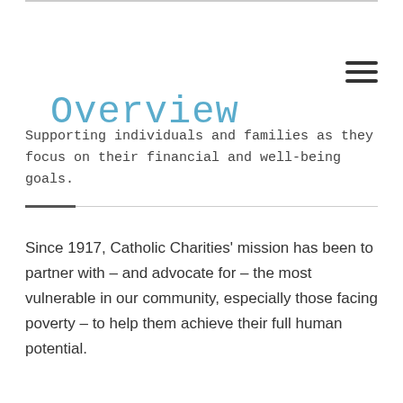Overview
Supporting individuals and families as they focus on their financial and well-being goals.
Since 1917, Catholic Charities' mission has been to partner with – and advocate for – the most vulnerable in our community, especially those facing poverty – to help them achieve their full human potential.